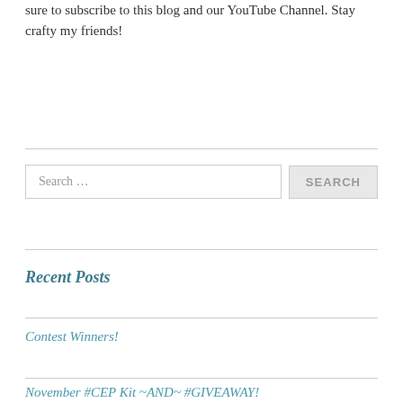sure to subscribe to this blog and our YouTube Channel.  Stay crafty my friends!
Search …
Recent Posts
Contest Winners!
November #CEP Kit ~AND~ #GIVEAWAY!